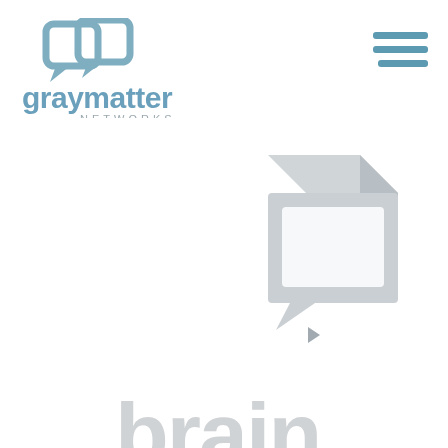[Figure (logo): Gray Matter Networks logo: two overlapping speech bubble icons in steel blue, with 'graymatter' in lowercase steel blue bold and 'NETWORKS' in small gray caps below]
[Figure (logo): Hamburger menu icon: three horizontal lines in steel blue, top-right corner]
[Figure (logo): Large watermark-style 3D speech bubble icon in light gray, center-right of page]
brain